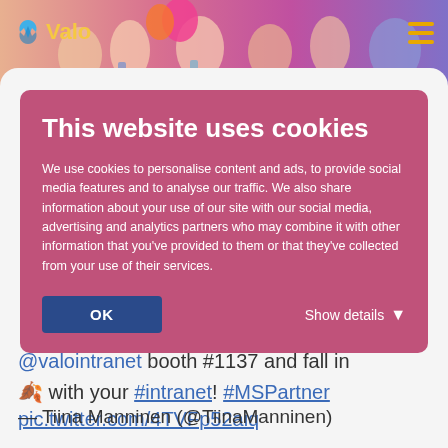[Figure (photo): Top banner photo showing a group of people at what appears to be a conference or event, with colorful balloons and decorations. Vale logo with yellow text visible on the left. Hamburger menu icon with yellow/gold bars on the right.]
This website uses cookies
We use cookies to personalise content and ads, to provide social media features and to analyse our traffic. We also share information about your use of our site with our social media, advertising and analytics partners who may combine it with other information that you've provided to them or that they've collected from your use of their services.
OK
Show details
@valointranet booth #1137 and fall in 🍂 with your #intranet! #MSPartner pic.twitter.com/4TVFp52aiq
— Tiina Manninen (@TiinaManninen)